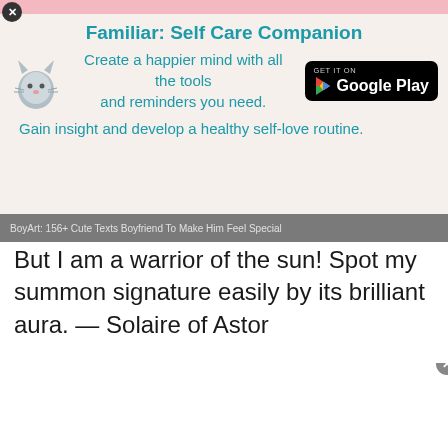[Figure (screenshot): Top pink banner strip at top of page]
[Figure (infographic): Advertisement for 'Familiar: Self Care Companion' app with cat icon and Google Play button. Title: Familiar: Self Care Companion. Subtitle: Create a happier mind with all the tools and reminders you need. Tagline: Gain insight and develop a healthy self-love routine.]
[Figure (screenshot): Gray navigation breadcrumb bar reading: BoyArt: 156+ Cute Texts Boyfriend To Make Him Feel Special]
But I am a warrior of the sun! Spot my summon signature easily by its brilliant aura. — Solaire of Astor
The flow of time it heroes centuries c Solaire of Astora
[Figure (screenshot): Dark video popup overlay showing 'THIS DAY IN HISTORY' with blue play arrows icon and AUGUST label. Has mute icon at bottom left and close X button at top right.]
If you miss it, you must be blind! — Solaire of